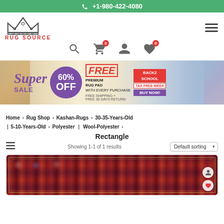+1-980-422-4080
[Figure (logo): Rug Source logo with crown icon and red text]
[Figure (infographic): Super Sale banner: 60% OFF, FREE Premium Rug Pad with every purchase, Back2School Tax Free Week, Buy Now]
Home > Rug Shop > Kashan-Rugs > 30-35-Years-Old | 5-10-Years-Old > Polyester | Wool-Polyester > Rectangle
Showing 1-1 of 1 results
[Figure (photo): Kashan rug product card with ornate red and blue pattern rug image]